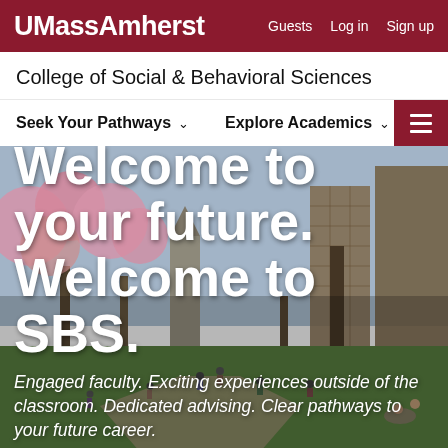UMassAmherst  Guests  Log in  Sign up
College of Social & Behavioral Sciences
Seek Your Pathways   Explore Academics
[Figure (photo): Campus photo showing students on a green lawn with cherry blossom trees, a brick church tower, and tall buildings in the background on a spring day.]
Welcome to your future. Welcome to SBS.
Engaged faculty. Exciting experiences outside of the classroom. Dedicated advising. Clear pathways to your future career.